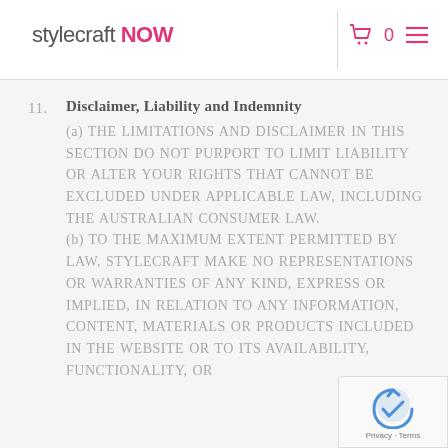stylecraft NOW
11. Disclaimer, Liability and Indemnity
(a) THE LIMITATIONS AND DISCLAIMER IN THIS SECTION DO NOT PURPORT TO LIMIT LIABILITY OR ALTER YOUR RIGHTS THAT CANNOT BE EXCLUDED UNDER APPLICABLE LAW, INCLUDING THE AUSTRALIAN CONSUMER LAW. (b) TO THE MAXIMUM EXTENT PERMITTED BY LAW, STYLECRAFT MAKE NO REPRESENTATIONS OR WARRANTIES OF ANY KIND, EXPRESS OR IMPLIED, IN RELATION TO ANY INFORMATION, CONTENT, MATERIALS OR PRODUCTS INCLUDED IN THE WEBSITE OR TO ITS AVAILABILITY, FUNCTIONALITY, OR